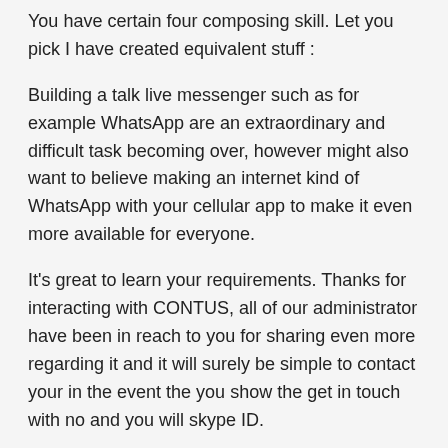You have certain four composing skill. Let you pick I have created equivalent stuff :
Building a talk live messenger such as for example WhatsApp are an extraordinary and difficult task becoming over, however might also want to believe making an internet kind of WhatsApp with your cellular app to make it even more available for everyone.
It's great to learn your requirements. Thanks for interacting with CONTUS, all of our administrator have been in reach to you for sharing even more regarding it and it will surely be simple to contact your in the event the you show the get in touch with no and you will skype ID.
Pleasant post, Thanks for discussing profitable studies. We appreciated looking over this blog post. The entire site is quite charming found certain well done. Thank you for discussing…As well as visit my web page.